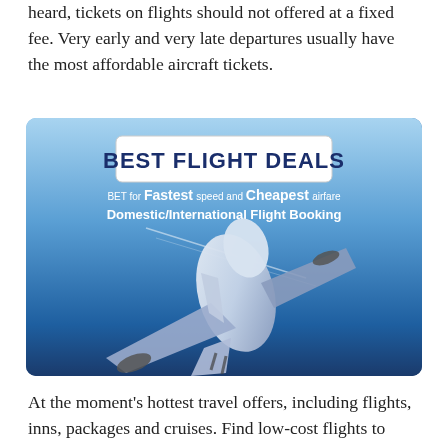heard, tickets on flights should not offered at a fixed fee. Very early and very late departures usually have the most affordable aircraft tickets.
[Figure (photo): Advertisement image with blue sky background showing an airplane taking off. Text overlay reads: 'BEST FLIGHT DEALS' in bold navy on white banner, 'BET for Fastest speed and Cheapest airfare', 'Domestic/International Flight Booking']
At the moment's hottest travel offers, including flights, inns, packages and cruises. Find low-cost flights to your subsequent holiday or for a brief metropolis break.